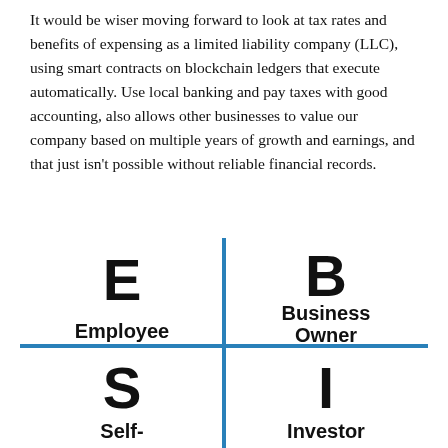It would be wiser moving forward to look at tax rates and benefits of expensing as a limited liability company (LLC), using smart contracts on blockchain ledgers that execute automatically. Use local banking and pay taxes with good accounting, also allows other businesses to value our company based on multiple years of growth and earnings, and that just isn't possible without reliable financial records.
[Figure (infographic): ESBI quadrant diagram with a blue vertical line and blue horizontal line dividing four quadrants. Top-left: large bold 'E' above 'Employee'. Top-right: large bold 'B' above 'Business Owner'. Bottom-left: large bold 'S' above 'Self-Employed' (partially visible). Bottom-right: large bold 'I' above 'Investor' (partially visible).]